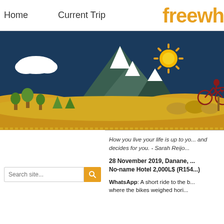Home   Current Trip   freewh...
[Figure (illustration): Illustrated travel banner with dark blue sky background, white clouds, green mountains with snow caps, yellow rolling hills, green trees, a sun with orange spiky rays, and a cyclist on a bicycle silhouette in dark red on the right side.]
How you live your life is up to yo... and decides for you. - Sarah Reijo...
28 November 2019, Danane, ... No-name Hotel 2,000L$ (R154...)
WhatsApp: A short ride to the b... where the bikes weighed hori...